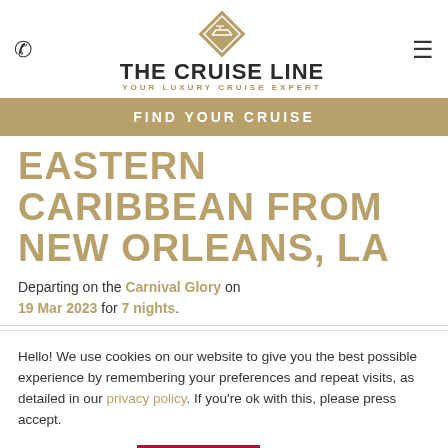THE CRUISE LINE — YOUR LUXURY CRUISE EXPERT
FIND YOUR CRUISE
EASTERN CARIBBEAN FROM NEW ORLEANS, LA
Departing on the Carnival Glory on 19 Mar 2023 for 7 nights.
Hello! We use cookies on our website to give you the best possible experience by remembering your preferences and repeat visits, as detailed in our privacy policy. If you're ok with this, please press accept.
Cookie settings | ACCEPT